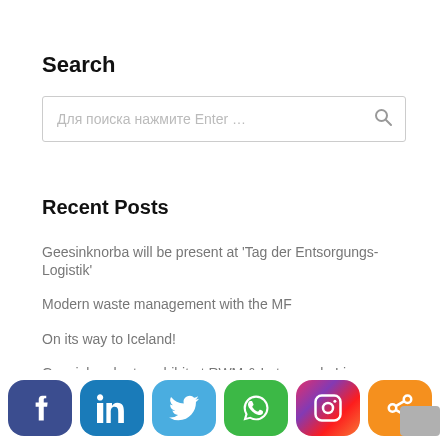Search
Для поиска нажмите Enter …
Recent Posts
Geesinknorba will be present at 'Tag der Entsorgungs-Logistik'
Modern waste management with the MF
On its way to Iceland!
Geesinknorba to exhibit at RWM & Letsrecycle Live
All-electric Scania on tour
[Figure (infographic): Social media sharing buttons row: Facebook (dark blue), LinkedIn (blue), Twitter (light blue), WhatsApp (green), Instagram (gradient pink/purple), Share (orange)]